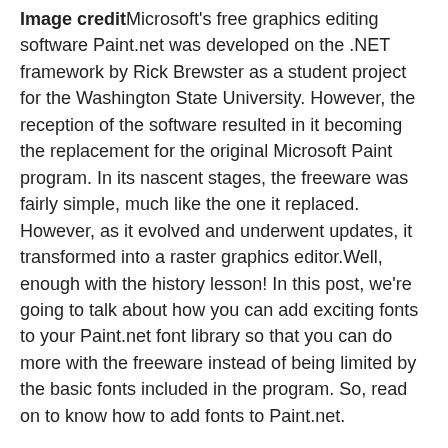Image credit Microsoft's free graphics editing software Paint.net was developed on the .NET framework by Rick Brewster as a student project for the Washington State University. However, the reception of the software resulted in it becoming the replacement for the original Microsoft Paint program. In its nascent stages, the freeware was fairly simple, much like the one it replaced. However, as it evolved and underwent updates, it transformed into a raster graphics editor.Well, enough with the history lesson! In this post, we're going to talk about how you can add exciting fonts to your Paint.net font library so that you can do more with the freeware instead of being limited by the basic fonts included in the program. So, read on to know how to add fonts to Paint.net.
You are watching: How to add fonts to paint.net